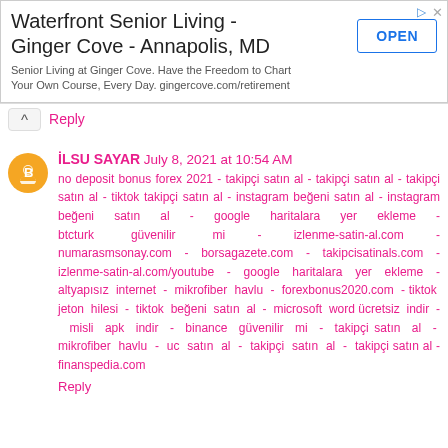[Figure (screenshot): Advertisement banner for Waterfront Senior Living - Ginger Cove - Annapolis, MD with an OPEN button]
Reply
İLSU SAYAR July 8, 2021 at 10:54 AM
no deposit bonus forex 2021 - takipçi satın al - takipçi satın al - takipçi satın al - tiktok takipçi satın al - instagram beğeni satın al - instagram beğeni satın al - google haritalara yer ekleme - btcturk güvenilir mi - izlenme-satin-al.com - numarasmsonay.com - borsagazete.com - takipcisatinals.com - izlenme-satin-al.com/youtube - google haritalara yer ekleme - altyapısız internet - mikrofiber havlu - forexbonus2020.com - tiktok jeton hilesi - tiktok beğeni satın al - microsoft word ücretsiz indir - misli apk indir - binance güvenilir mi - takipçi satın al - mikrofiber havlu - uc satın al - takipçi satın al - takipçi satın al - finanspedia.com
Reply